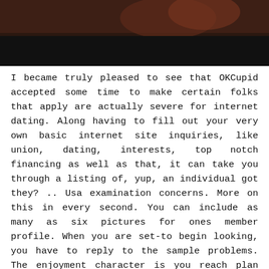[Figure (photo): Dark photograph showing partial view of a person, cropped at the top of the page]
I became truly pleased to see that OKCupid accepted some time to make certain folks that apply are actually severe for internet dating. Along having to fill out your very own basic internet site inquiries, like union, dating, interests, top notch financing as well as that, it can take you through a listing of, yup, an individual got they? .. Usa examination concerns. More on this in every second. You can include as many as six pictures for ones member profile. When you are set-to begin looking, you have to reply to the sample problems. The enjoyment character is you reach plan all of them two times; the first occasion is dependant on an individual, another discussion is dependent on your very own time. The queries